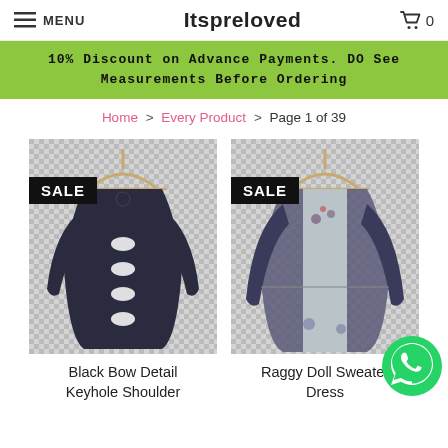MENU  Itspreloved  🛒 0
10% Discount on Advance Payments. DO See Measurements Before Ordering
Home > Every Product > Page 1 of 39
[Figure (photo): Black top with keyhole shoulder detail on a hanger, SALE badge, checkered background]
Black Bow Detail Keyhole Shoulder
[Figure (photo): Grey/blue raggy doll sweater dress on a hanger, SALE badge, checkered background]
Raggy Doll Sweater Dress
[Figure (other): WhatsApp floating call button (green circle with phone icon)]